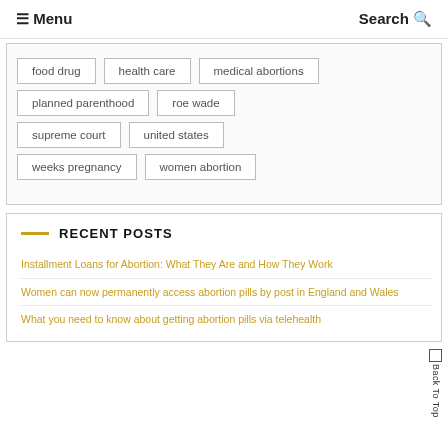☰ Menu   Search 🔍
food drug
health care
medical abortions
planned parenthood
roe wade
supreme court
united states
weeks pregnancy
women abortion
RECENT POSTS
Installment Loans for Abortion: What They Are and How They Work
Women can now permanently access abortion pills by post in England and Wales
What you need to know about getting abortion pills via telehealth